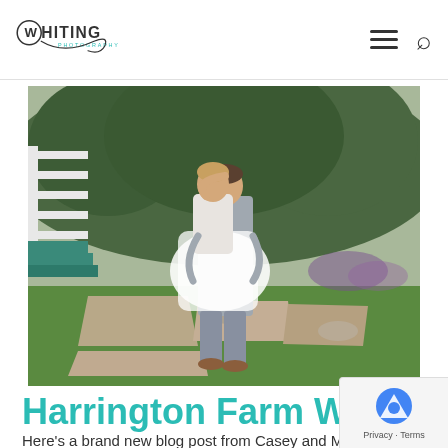Whiting Photography — navigation header with logo, hamburger menu, and search icon
[Figure (photo): Wedding photo of a groom in a grey suit lifting and embracing a bride in a white dress on a stone pathway in a lush green garden, with a white porch railing visible on the left.]
Harrington Farm Wedding
Here's a brand new blog post from Casey and Matt's